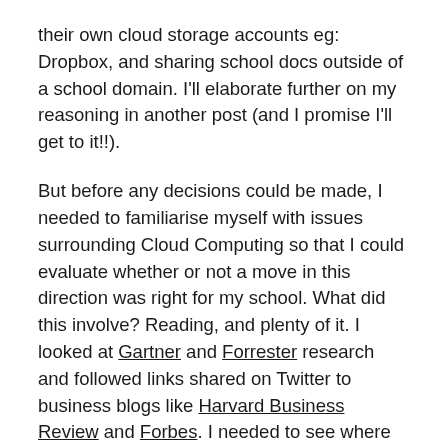their own cloud storage accounts eg: Dropbox, and sharing school docs outside of a school domain. I'll elaborate further on my reasoning in another post (and I promise I'll get to it!!).
But before any decisions could be made, I needed to familiarise myself with issues surrounding Cloud Computing so that I could evaluate whether or not a move in this direction was right for my school. What did this involve? Reading, and plenty of it. I looked at Gartner and Forrester research and followed links shared on Twitter to business blogs like Harvard Business Review and Forbes. I needed to see where business was heading and explore speculation about the future of work and what might be required. I read countless articles about cloud storage and privacy concerns. And through all this, I was linking what I was reading to the education system and analysing how what applies in business